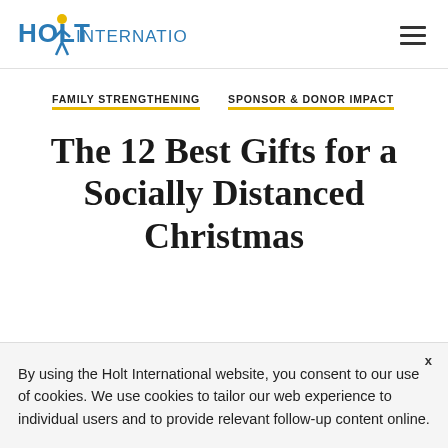Holt International
FAMILY STRENGTHENING   SPONSOR & DONOR IMPACT
The 12 Best Gifts for a Socially Distanced Christmas
By using the Holt International website, you consent to our use of cookies. We use cookies to tailor our web experience to individual users and to provide relevant follow-up content online.